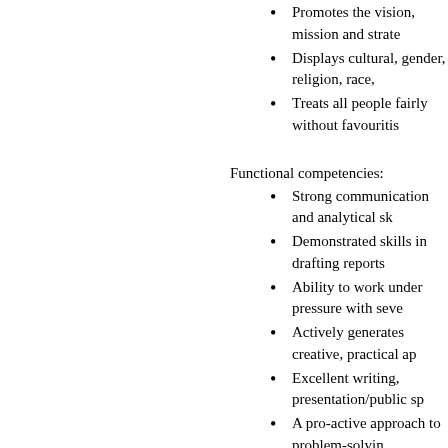Promotes the vision, mission and strate…
Displays cultural, gender, religion, race,…
Treats all people fairly without favouritis…
Functional competencies:
Strong communication and analytical sk…
Demonstrated skills in drafting reports
Ability to work under pressure with seve…
Actively generates creative, practical ap…
Excellent writing, presentation/public sp…
A pro-active approach to problem-solvin…
Computer literacy.
Leadership and Self-Management skills:
Builds strong relationships with the work… partners and responds positively to feed…
Cooperates with working group effective…
Consistently approaches work with ener…
Demonstrates strong influencing and fa…
Remains calm, in control and good hum…
Demonstrates openness to change, new…
Demonstrates strong oral and written co…